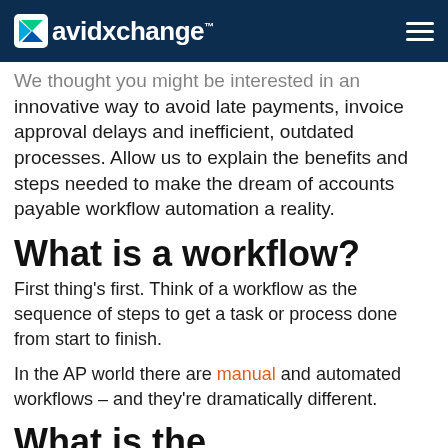avidxchange™
We thought you might be interested in an innovative way to avoid late payments, invoice approval delays and inefficient, outdated processes. Allow us to explain the benefits and steps needed to make the dream of accounts payable workflow automation a reality.
What is a workflow?
First thing's first. Think of a workflow as the sequence of steps to get a task or process done from start to finish.
In the AP world there are manual and automated workflows – and they're dramatically different.
What is the